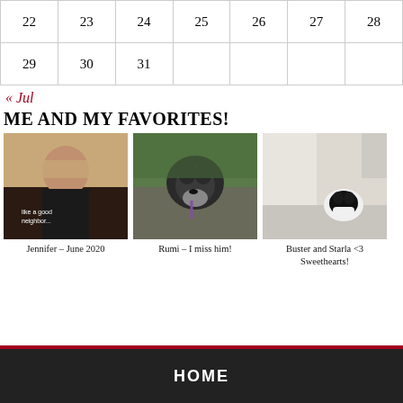| 22 | 23 | 24 | 25 | 26 | 27 | 28 |
| 29 | 30 | 31 |  |  |  |  |
« Jul
ME AND MY FAVORITES!
[Figure (photo): Photo of Jennifer – June 2020, a woman with glasses and blonde hair wearing a dark t-shirt]
Jennifer – June 2020
[Figure (photo): Photo of Rumi, a dark-colored fluffy dog on a path surrounded by green trees]
Rumi – I miss him!
[Figure (photo): Photo of Buster and Starla, a black and white cat sitting in a bathtub]
Buster and Starla <3 Sweethearts!
HOME